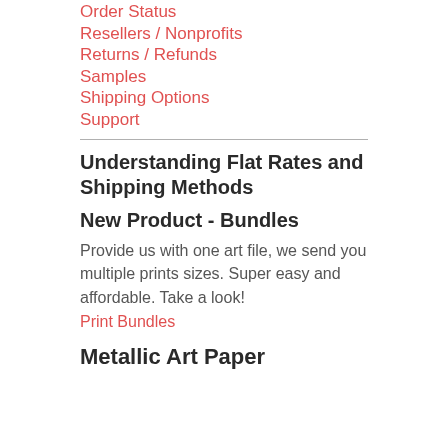Order Status
Resellers / Nonprofits
Returns / Refunds
Samples
Shipping Options
Support
Understanding Flat Rates and Shipping Methods
New Product - Bundles
Provide us with one art file, we send you multiple prints sizes. Super easy and affordable. Take a look!
Print Bundles
Metallic Art Paper